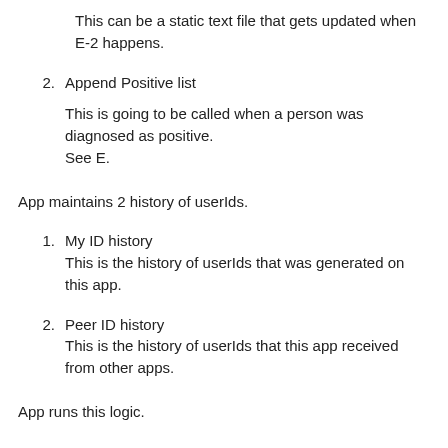This can be a static text file that gets updated when E-2 happens.
2. Append Positive list
This is going to be called when a person was diagnosed as positive.
See E.
App maintains 2 history of userIds.
1. My ID history
This is the history of userIds that was generated on this app.
2. Peer ID history
This is the history of userIds that this app received from other apps.
App runs this logic.